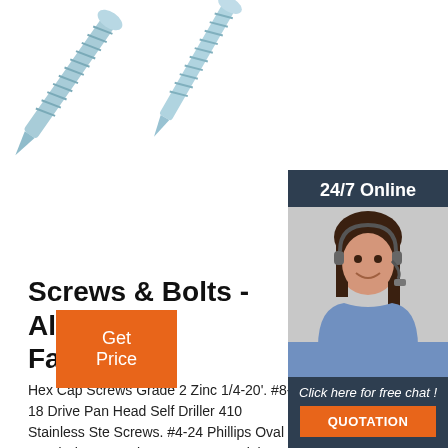[Figure (photo): Close-up photo of two metallic self-drilling screws/bolts with threaded shafts, light blue-silver color, on white background]
[Figure (photo): Sidebar with dark blue-gray background showing a woman with headset (customer service agent), a '24/7 Online' header, 'Click here for free chat!' text, and an orange QUOTATION button]
Screws & Bolts - Albany C Fasteners
Hex Cap Screws Grade 2 Zinc 1/4-20'. #8-18 Drive Pan Head Self Driller 410 Stainless Ste Screws. #4-24 Phillips Oval Head Sheet Metal Screws 18-8 Stainless Steel.
Get Price